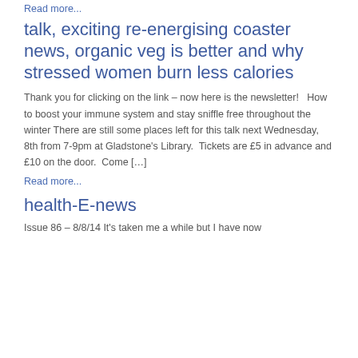Read more...
talk, exciting re-energising coaster news, organic veg is better and why stressed women burn less calories
Thank you for clicking on the link – now here is the newsletter!   How to boost your immune system and stay sniffle free throughout the winter There are still some places left for this talk next Wednesday, 8th from 7-9pm at Gladstone's Library.  Tickets are £5 in advance and £10 on the door.  Come […]
Read more...
health-E-news
Issue 86 – 8/8/14 It's taken me a while but I have now